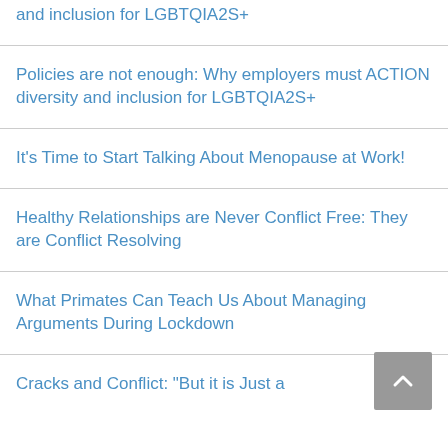and inclusion for LGBTQIA2S+
Policies are not enough: Why employers must ACTION diversity and inclusion for LGBTQIA2S+
It’s Time to Start Talking About Menopause at Work!
Healthy Relationships are Never Conflict Free: They are Conflict Resolving
What Primates Can Teach Us About Managing Arguments During Lockdown
Cracks and Conflict: “But it is Just a